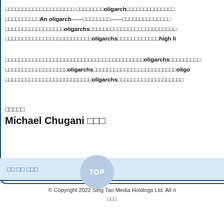□□□□□□□□□□□□□□□□□□□□·□□□□□□□□oligarch□□□□□□□□□□□□□□ □□□□□□□□□□An oligarch——□□□□□□□□——□□□□□□□□□□□□□□ □□□□□□□□□□□□□□□□□oligarchs□□□□□□□□□□□□□□□□□□□□□□□□□ □□□□□□□□□□□□□□□□□□□□□□□□□oligarchs□□□□□□□□□□□□high li
□□□□□□□□□□□□□□□□□□□□□□□□□□□□□□□□□□□□□□□□oligarchs□□□□□□□□□ □□□□□□□□□□□□□□□□□□oligarchs□□□□□□□□□□□□□□□□□□□□□□□□oliga □□□□□□□□□□□□□□□□□□□□□□□□□oligarchs□□□□□□□□□□□□□□□□□□□
□□□□□
Michael Chugani □□□
□□ □□ □□□
© Copyright 2022 Sing Tao Media Holdings Ltd. All ri □□□